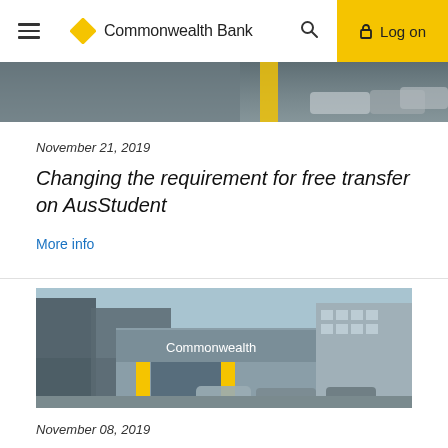Commonwealth Bank — Log on
[Figure (photo): Cropped top portion of Commonwealth Bank branch exterior photo showing cars in parking area]
November 21, 2019
Changing the requirement for free transfer on AusStudent
More info
[Figure (photo): Commonwealth Bank branch building exterior with yellow signage and cars parked in front]
November 08, 2019